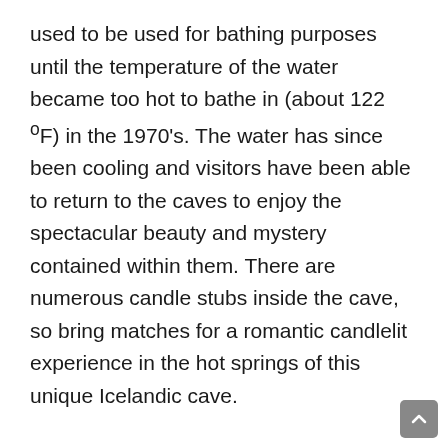used to be used for bathing purposes until the temperature of the water became too hot to bathe in (about 122 ºF) in the 1970's. The water has since been cooling and visitors have been able to return to the caves to enjoy the spectacular beauty and mystery contained within them. There are numerous candle stubs inside the cave, so bring matches for a romantic candlelit experience in the hot springs of this unique Icelandic cave.
Surfing in Honolulu
Honolulu, the capital of Hawaii on the island of Oahu, is home to the world-famous Waikiki Beach with waters so clear that you can still see your feet as you